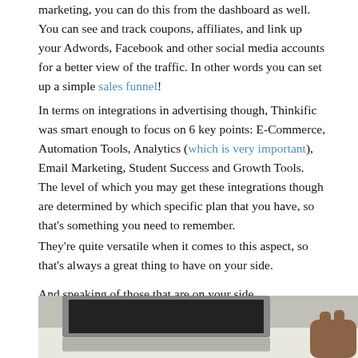marketing, you can do this from the dashboard as well. You can see and track coupons, affiliates, and link up your Adwords, Facebook and other social media accounts for a better view of the traffic. In other words you can set up a simple sales funnel!
In terms on integrations in advertising though, Thinkific was smart enough to focus on 6 key points: E-Commerce, Automation Tools, Analytics (which is very important), Email Marketing, Student Success and Growth Tools. The level of which you may get these integrations though are determined by which specific plan that you have, so that's something you need to remember.
They're quite versatile when it comes to this aspect, so that's always a great thing to have on your side.
And speaking of those that are on your side.
[Figure (photo): Photo of a laptop with keyboard visible and a person's hand on the right side, on a light surface]